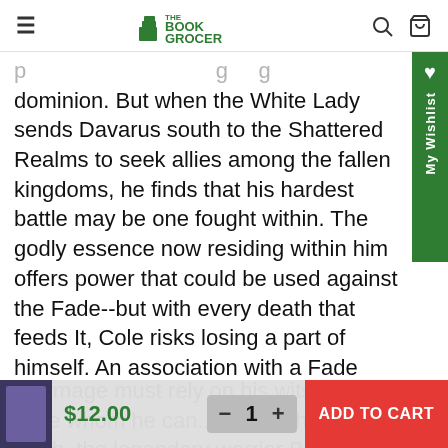The Book Grocer
dominion. But when the White Lady sends Davarus south to the Shattered Realms to seek allies among the fallen kingdoms, he finds that his hardest battle may be one fought within. The godly essence now residing within him offers power that could be used against the Fade--but with every death that feeds It, Cole risks losing a part of himself. An association with a Fade officer grants the Halfmage Eremul a position of privilege among Dorminia's new masters. He witnesses firsthand the fate that awaits humanity. But with his magic pitiful in the face of the Fade's advanced technology, the Halfmage must rely on his wits alone to save whom he can... And in the frozen north, the legendary warrior Brodar Kayne fights a
$12.00  −  1  +  ADD TO CART